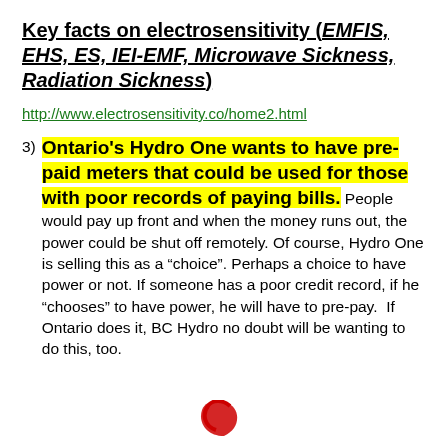Key facts on electrosensitivity (EMFIS, EHS, ES, IEI-EMF, Microwave Sickness, Radiation Sickness)
http://www.electrosensitivity.co/home2.html
3)  Ontario's Hydro One wants to have pre-paid meters that could be used for those with poor records of paying bills. People would pay up front and when the money runs out, the power could be shut off remotely. Of course, Hydro One is selling this as a “choice”. Perhaps a choice to have power or not. If someone has a poor credit record, if he “chooses” to have power, he will have to pre-pay.  If Ontario does it, BC Hydro no doubt will be wanting to do this, too.